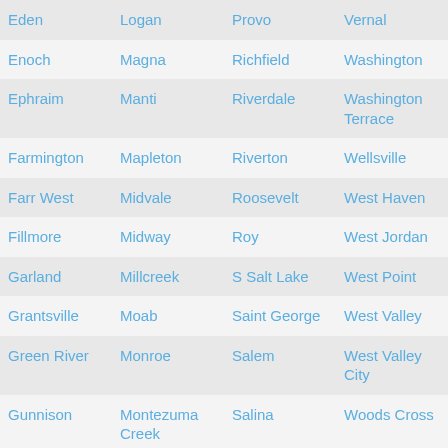| Eden | Logan | Provo | Vernal |
| Enoch | Magna | Richfield | Washington |
| Ephraim | Manti | Riverdale | Washington Terrace |
| Farmington | Mapleton | Riverton | Wellsville |
| Farr West | Midvale | Roosevelt | West Haven |
| Fillmore | Midway | Roy | West Jordan |
| Garland | Millcreek | S Salt Lake | West Point |
| Grantsville | Moab | Saint George | West Valley |
| Green River | Monroe | Salem | West Valley City |
| Gunnison | Montezuma Creek | Salina | Woods Cross |